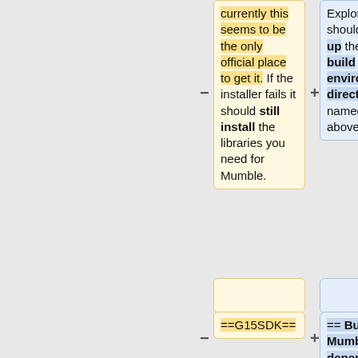currently this seems to be the only official place to get it. If the installer fails it should still install the libraries you need for Mumble.
Explorer should open up the new build environment directory as named above.
==G15SDK==
== Build Mumble's dependencies ==
To start building Mumble's